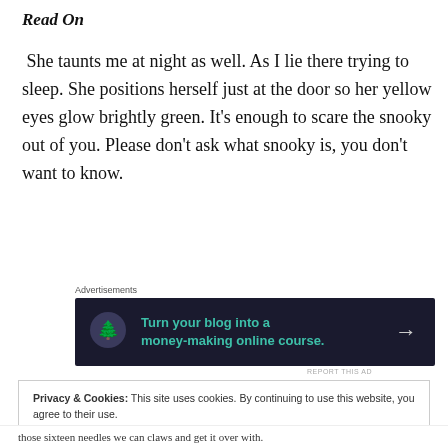Read On
She taunts me at night as well. As I lie there trying to sleep. She positions herself just at the door so her yellow eyes glow brightly green. It’s enough to scare the snooky out of you. Please don’t ask what snooky is, you don’t want to know.
Advertisements
[Figure (other): Dark advertisement banner: Turn your blog into a money-making online course. with arrow icon, teal text on dark navy background.]
REPORT THIS AD
Privacy & Cookies: This site uses cookies. By continuing to use this website, you agree to their use.
To find out more, including how to control cookies, see here: Cookie Policy
Close and accept
those sixteen needles we can claws and get it over with.